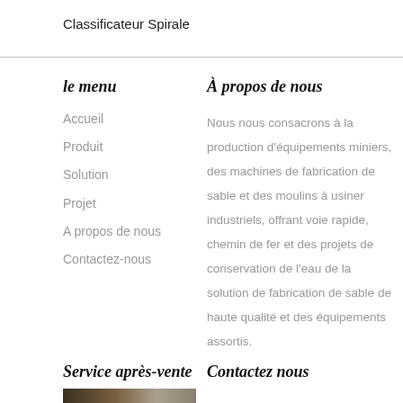Classificateur Spirale
le menu
Accueil
Produit
Solution
Projet
A propos de nous
Contactez-nous
À propos de nous
Nous nous consacrons à la production d'équipements miniers, des machines de fabrication de sable et des moulins à usiner industriels, offrant voie rapide, chemin de fer et des projets de conservation de l'eau de la solution de fabrication de sable de haute qualité et des équipements assortis.
Service après-vente
Contactez nous
[Figure (photo): Photo of industrial equipment or machinery]